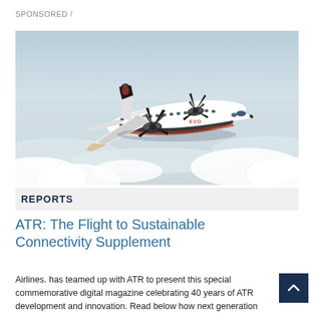SPONSORED /
[Figure (photo): A white turboprop aircraft with dark accents and 'EVO' branding flying above clouds, viewed from a slightly elevated angle. The aircraft has large multi-blade propellers.]
REPORTS
ATR: The Flight to Sustainable Connectivity Supplement
Airlines. has teamed up with ATR to present this special commemorative digital magazine celebrating 40 years of ATR development and innovation. Read below how next generation turboprops will transform airline operations and